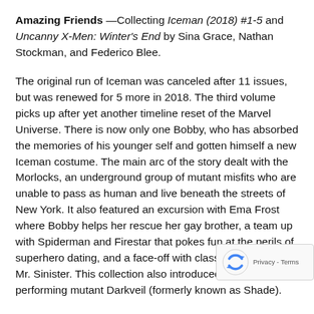Amazing Friends —Collecting Iceman (2018) #1-5 and Uncanny X-Men: Winter's End by Sina Grace, Nathan Stockman, and Federico Blee.
The original run of Iceman was canceled after 11 issues, but was renewed for 5 more in 2018. The third volume picks up after yet another timeline reset of the Marvel Universe. There is now only one Bobby, who has absorbed the memories of his younger self and gotten himself a new Iceman costume. The main arc of the story dealt with the Morlocks, an underground group of mutant misfits who are unable to pass as human and live beneath the streets of New York. It also featured an excursion with Ema Frost where Bobby helps her rescue her gay brother, a team up with Spiderman and Firestar that pokes fun at the perils of superhero dating, and a face-off with classic X-Men villain Mr. Sinister. This collection also introduced the new dra performing mutant Darkveil (formerly known as Shade).